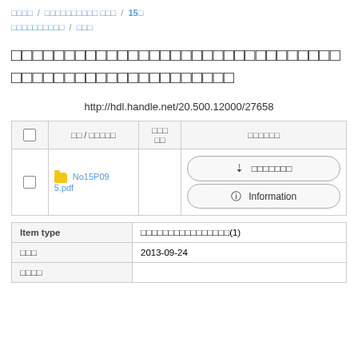□□□□ / □□□□□□□□□□ □□□ / 15□ □□□□□□□□□□ / □□□
□□□□□□□□□□□□□□□□□□□□□□□□□□□□□□□□□□□□□□□□□□□
http://hdl.handle.net/20.500.12000/27658
|  | □□ / □□□□□ | □□□□ | □□□□□□ |
| --- | --- | --- | --- |
|  | □ No15P095.pdf |  | □□□□□□□  Information |
| Item type | □□□□□□□□□□□□□□□□(1) |
| --- | --- |
| □□□ | 2013-09-24 |
| □□□□ |  |